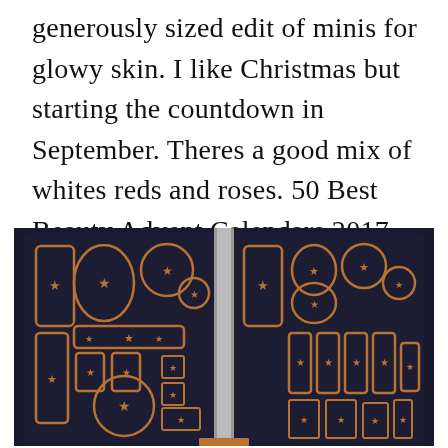generously sized edit of minis for glowy skin. I like Christmas but starting the countdown in September. Theres a good mix of whites reds and roses. 50 Best Beauty Advent Calendars 2017.
[Figure (photo): A luxury black and rose-gold advent calendar box open to show two panels covered with decorative compartments in various shapes (rectangles, ovals, circles) each adorned with star motifs and rose-gold metallic outlines against a dark navy/black background.]